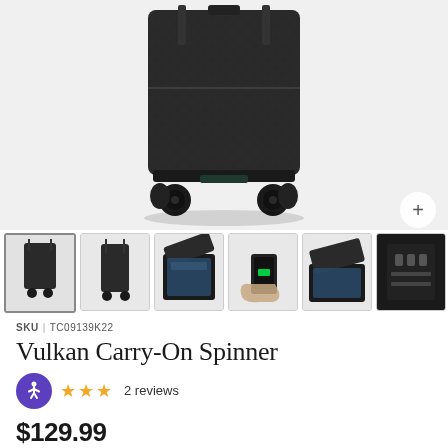[Figure (photo): Main product photo of black Vulkan Carry-On Spinner luggage with 4 spinner wheels, shown from front-bottom angle against light gray background. A zoom button (+) appears in the bottom right corner.]
[Figure (photo): Row of 6 product thumbnail images: front view, side view, open interior view, phone charging view, open lid view, and detail/lock view.]
SKU | TC09139K22
Vulkan Carry-On Spinner
★★★ 2 reviews
$129.99